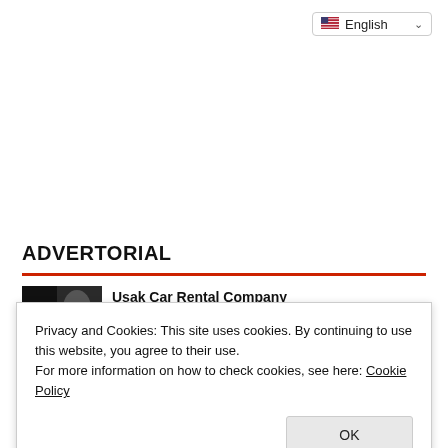[Figure (screenshot): Language selector dropdown showing English with US flag icon]
ADVERTORIAL
[Figure (photo): Thumbnail image for Usak Car Rental Company article]
Usak Car Rental Company
Privacy and Cookies: This site uses cookies. By continuing to use this website, you agree to their use.
For more information on how to check cookies, see here: Cookie Policy
OK
[Figure (photo): Second article thumbnail image at bottom of page]